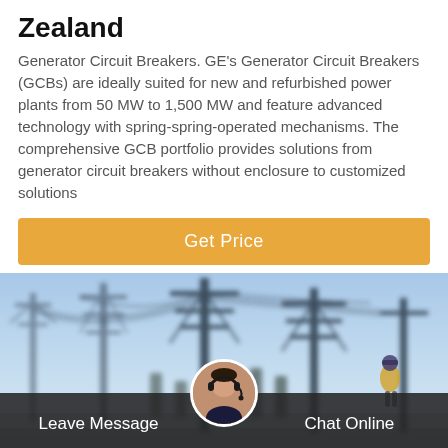Zealand
Generator Circuit Breakers. GE's Generator Circuit Breakers (GCBs) are ideally suited for new and refurbished power plants from 50 MW to 1,500 MW and feature advanced technology with spring-spring-operated mechanisms. The comprehensive GCB portfolio provides solutions from generator circuit breakers without enclosure to customized solutions
[Figure (other): Orange 'Get Price' call-to-action button]
[Figure (photo): Photograph of an electrical substation with transmission towers and power lines against a blue sky, with a person in safety gear visible at right]
Leave Message  Chat Online